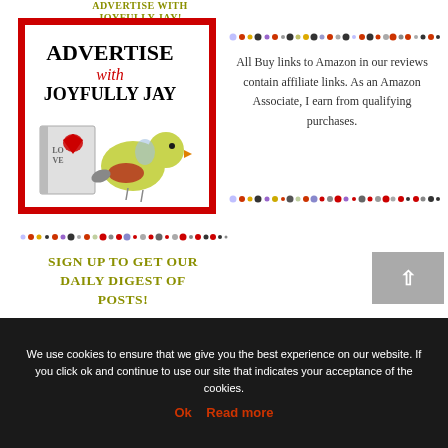ADVERTISE WITH JOYFULLY JAY!
[Figure (illustration): Red-bordered advertisement box for 'Advertise with Joyfully Jay' featuring bold text and an illustration of a bird with a book]
[Figure (infographic): Colorful dot row divider]
All Buy links to Amazon in our reviews contain affiliate links. As an Amazon Associate, I earn from qualifying purchases.
[Figure (infographic): Colorful dot row divider]
[Figure (infographic): Colorful dot row divider bottom]
SIGN UP TO GET OUR DAILY DIGEST OF POSTS!
We use cookies to ensure that we give you the best experience on our website. If you click ok and continue to use our site that indicates your acceptance of the cookies.
Ok  Read more